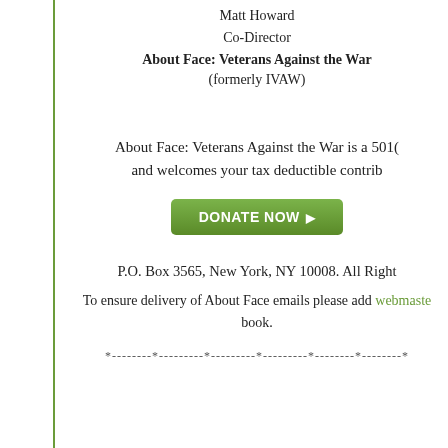Matt Howard
Co-Director
About Face: Veterans Against the War
(formerly IVAW)
About Face: Veterans Against the War is a 501( and welcomes your tax deductible contrib
[Figure (other): Green DONATE NOW button with right-pointing arrow]
P.O. Box 3565, New York, NY 10008. All Right
To ensure delivery of About Face emails please add webmaste book.
*--------*---------*---------*---------*--------*--------*